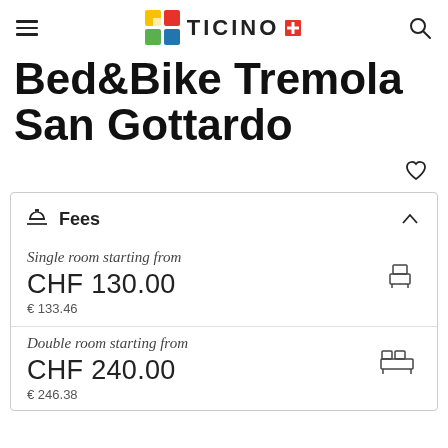Ticino
Bed&Bike Tremola San Gottardo
Fees
Single room starting from
CHF 130.00
€ 133.46
Double room starting from
CHF 240.00
€ 246.38